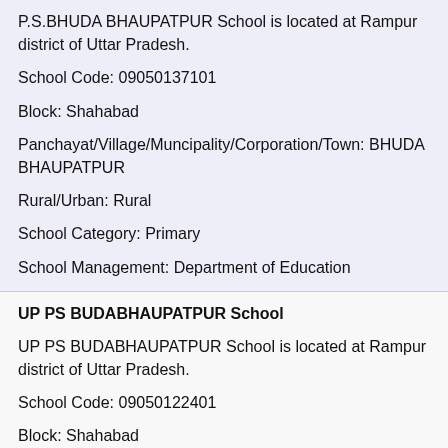P.S.BHUDA BHAUPATPUR School is located at Rampur district of Uttar Pradesh.
School Code: 09050137101
Block: Shahabad
Panchayat/Village/Muncipality/Corporation/Town: BHUDA BHAUPATPUR
Rural/Urban: Rural
School Category: Primary
School Management: Department of Education
UP PS BUDABHAUPATPUR School
UP PS BUDABHAUPATPUR School is located at Rampur district of Uttar Pradesh.
School Code: 09050122401
Block: Shahabad